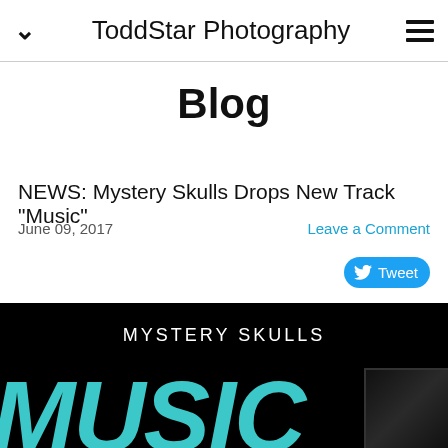ToddStar Photography
Blog
NEWS: Mystery Skulls Drops New Track "Music"
June 09, 2017
Leave a Comment
Tweet
[Figure (screenshot): Black background promotional image for Mystery Skulls showing 'MYSTERY SKULLS' text in white at top, large teal/cyan 'MUSIC' text at bottom in italic bold font, and a partial album artwork in bottom right corner]